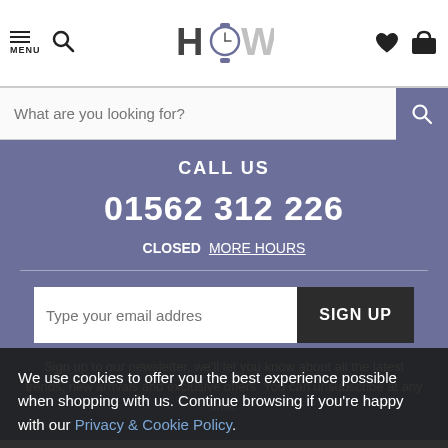[Figure (screenshot): Website header with hamburger menu, search icon, HOW watch logo in center, heart and bag icons on right]
What are you looking for?
CALL US
01562 312 226
CLOSED MORE HOURS
Type your email address
SIGN UP
Sign up to our newsletter, we'll let you know about all the latest trends, new arrivals and exclusive offers. You can unsubscribe at any time.
ABOUT US
We use cookies to offer you the best experience possible when shopping with us. Continue browsing if you're happy with our Privacy & Cookie Policy.
CONTINUE >